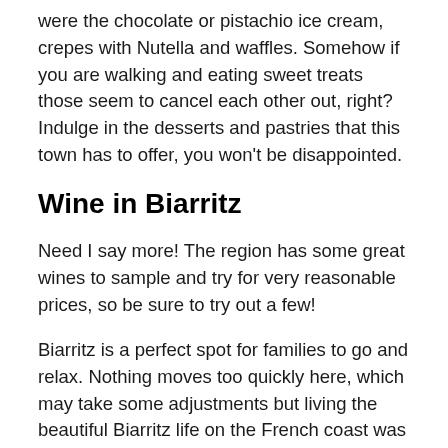were the chocolate or pistachio ice cream, crepes with Nutella and waffles. Somehow if you are walking and eating sweet treats those seem to cancel each other out, right? Indulge in the desserts and pastries that this town has to offer, you won't be disappointed.
Wine in Biarritz
Need I say more! The region has some great wines to sample and try for very reasonable prices, so be sure to try out a few!
Biarritz is a perfect spot for families to go and relax. Nothing moves too quickly here, which may take some adjustments but living the beautiful Biarritz life on the French coast was exactly what